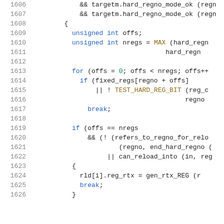[Figure (screenshot): Source code listing lines 1606-1626, C programming language code showing register allocation logic with syntax highlighting. Line numbers in gray on left, keywords in blue, function names in gold/brown, operators and identifiers in dark/black.]